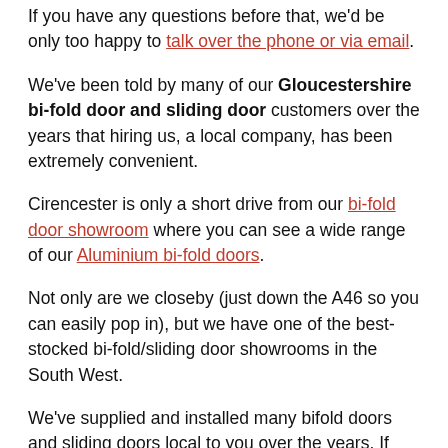If you have any questions before that, we'd be only too happy to talk over the phone or via email.
We've been told by many of our Gloucestershire bi-fold door and sliding door customers over the years that hiring us, a local company, has been extremely convenient.
Cirencester is only a short drive from our bi-fold door showroom where you can see a wide range of our Aluminium bi-fold doors.
Not only are we closeby (just down the A46 so you can easily pop in), but we have one of the best-stocked bi-fold/sliding door showrooms in the South West.
We've supplied and installed many bifold doors and sliding doors local to you over the years. If you'd like to talk to any of your fellow Cirencester...